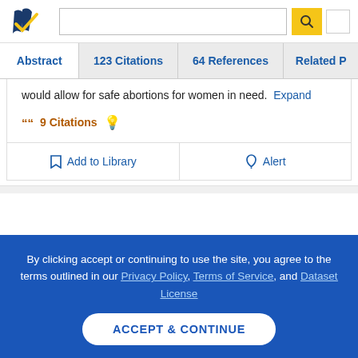[Figure (logo): Semantic Scholar logo — dark blue stylized book pages with gold checkmark]
Abstract | 123 Citations | 64 References | Related P…
would allow for safe abortions for women in need.
Expand
9 Citations
Add to Library
Alert
By clicking accept or continuing to use the site, you agree to the terms outlined in our Privacy Policy, Terms of Service, and Dataset License
ACCEPT & CONTINUE